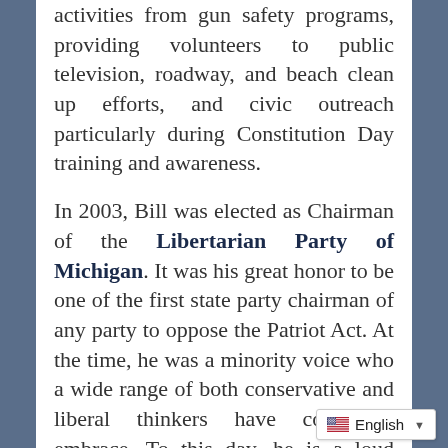activities from gun safety programs, providing volunteers to public television, roadway, and beach clean up efforts, and civic outreach particularly during Constitution Day training and awareness.
In 2003, Bill was elected as Chairman of the Libertarian Party of Michigan. It was his great honor to be one of the first state party chairman of any party to oppose the Patriot Act. At the time, he was a minority voice who a wide range of both conservative and liberal thinkers have come to embrace. To this day, he is a loud advocate for due process and the protections of the 4th Amendment.
English